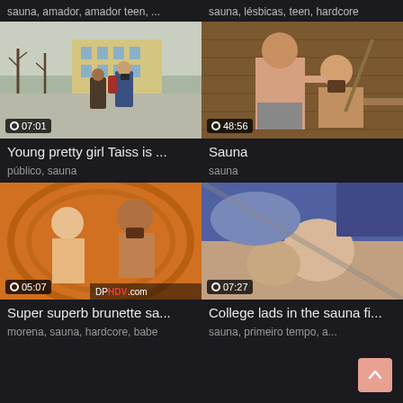sauna, amador, amador teen, ...
sauna, lésbicas, teen, hardcore
[Figure (photo): Video thumbnail: person with camera outdoors in winter, city square, duration 07:01]
[Figure (photo): Video thumbnail: two men in sauna, one tied with rope, duration 48:56]
Young pretty girl Taiss is ...
Sauna
público, sauna
sauna
[Figure (photo): Video thumbnail: couple in sauna setting, DPHDV.com watermark, duration 05:07]
[Figure (photo): Video thumbnail: close-up explicit content, duration 07:27]
Super superb brunette sa...
College lads in the sauna fi...
morena, sauna, hardcore, babe
sauna, primeiro tempo, a...